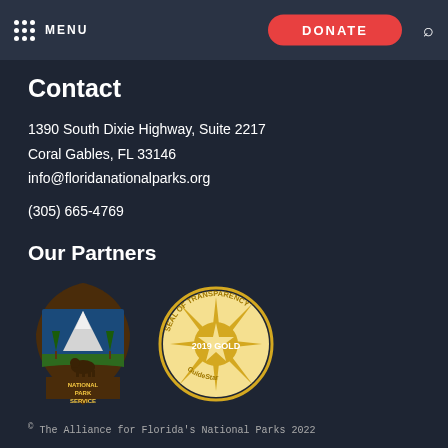MENU   DONATE
Contact
1390 South Dixie Highway, Suite 2217
Coral Gables, FL 33146
info@floridanationalparks.org
(305) 665-4769
Our Partners
[Figure (logo): National Park Service arrowhead logo with tree, mountain, and bison]
[Figure (logo): GuideStar 2019 Gold Seal of Transparency circular badge]
© The Alliance for Florida's National Parks 2022